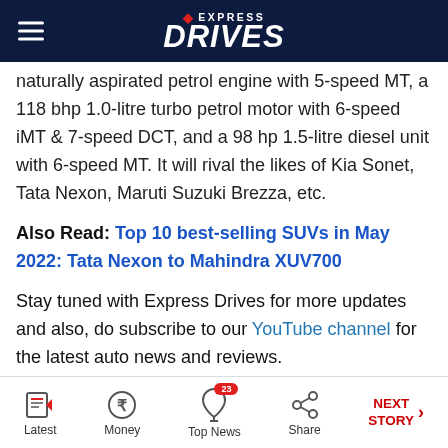EXPRESS DRIVES
naturally aspirated petrol engine with 5-speed MT, a 118 bhp 1.0-litre turbo petrol motor with 6-speed iMT & 7-speed DCT, and a 98 hp 1.5-litre diesel unit with 6-speed MT. It will rival the likes of Kia Sonet, Tata Nexon, Maruti Suzuki Brezza, etc.
Also Read: Top 10 best-selling SUVs in May 2022: Tata Nexon to Mahindra XUV700
Stay tuned with Express Drives for more updates and also, do subscribe to our YouTube channel for the latest auto news and reviews.
Latest   Money   Top News 23   Share   NEXT STORY